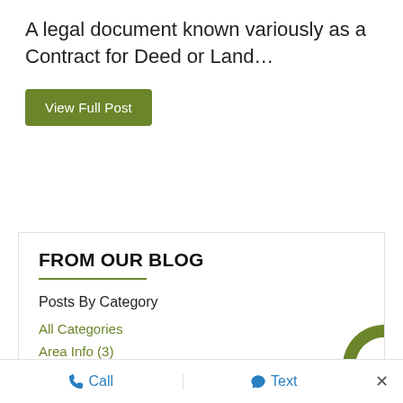A legal document known variously as a Contract for Deed or Land…
View Full Post
FROM OUR BLOG
Posts By Category
All Categories
Area Info  (3)
Call   Text